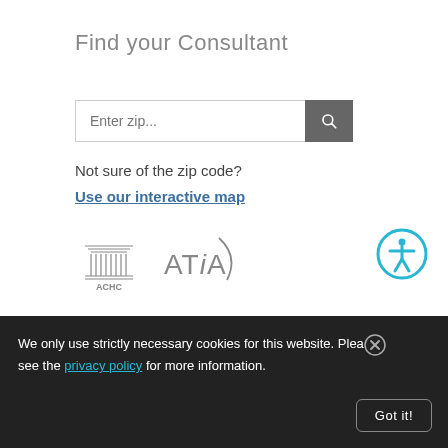Find your Consultant
Enter zip...
Not sure of the zip code?
Use our interactive map
[Figure (logo): ACHC logo and ATIA logo side by side]
[Figure (other): Accessibility icon - blue circle with white person figure]
We only use strictly necessary cookies for this website. Please see the privacy policy for more information.  Got it!